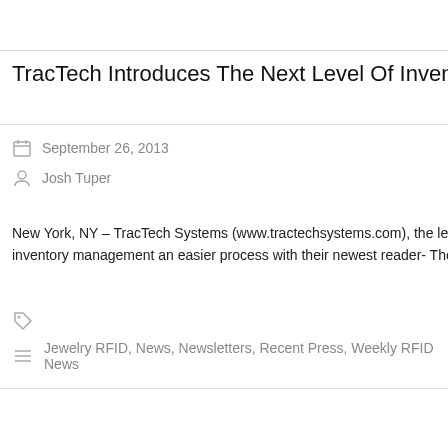TracTech Introduces The Next Level Of Inventory Contr
September 26, 2013
Josh Tuper
New York, NY – TracTech Systems (www.tractechsystems.com), the leader o inventory management an easier process with their newest reader- The War
Jewelry RFID, News, Newsletters, Recent Press, Weekly RFID News